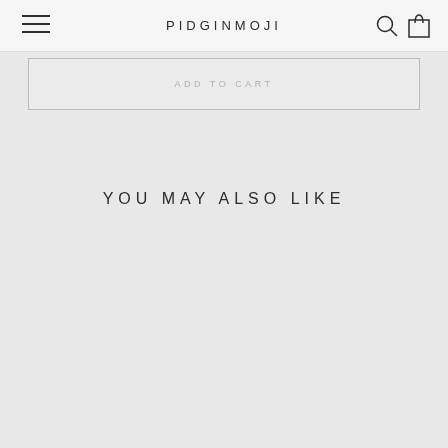PIDGINMOJI
ADD TO CART
YOU MAY ALSO LIKE